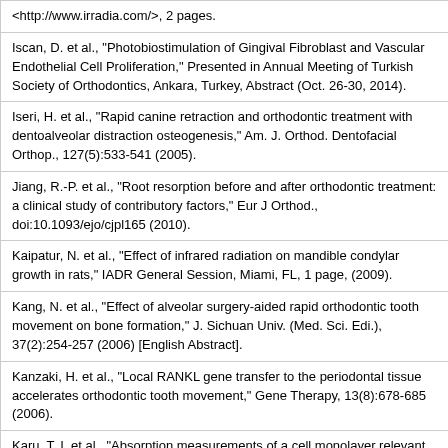<http://www.irradia.com/>, 2 pages.
Iscan, D. et al., "Photobiostimulation of Gingival Fibroblast and Vascular Endothelial Cell Proliferation," Presented in Annual Meeting of Turkish Society of Orthodontics, Ankara, Turkey, Abstract (Oct. 26-30, 2014).
Iseri, H. et al., "Rapid canine retraction and orthodontic treatment with dentoalveolar distraction osteogenesis," Am. J. Orthod. Dentofacial Orthop., 127(5):533-541 (2005).
Jiang, R.-P. et al., "Root resorption before and after orthodontic treatment: a clinical study of contributory factors," Eur J Orthod., doi:10.1093/ejo/cjpl165 (2010).
Kaipatur, N. et al., "Effect of infrared radiation on mandible condylar growth in rats," IADR General Session, Miami, FL, 1 page, (2009).
Kang, N. et al., "Effect of alveolar surgery-aided rapid orthodontic tooth movement on bone formation," J. Sichuan Univ. (Med. Sci. Edi.), 37(2):254-257 (2006) [English Abstract].
Kanzaki, H. et al., "Local RANKL gene transfer to the periodontal tissue accelerates orthodontic tooth movement," Gene Therapy, 13(8):678-685 (2006).
Karu, T. I. et al., "Absorption measurements of a cell monolayer relevant to phototherapy: reduction of cytochrome c oxidase under